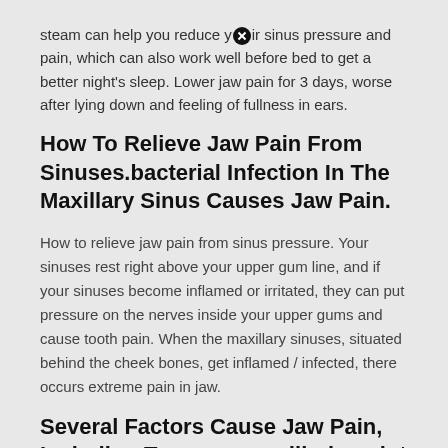steam can help you reduce your sinus pressure and pain, which can also work well before bed to get a better night's sleep. Lower jaw pain for 3 days, worse after lying down and feeling of fullness in ears.
How To Relieve Jaw Pain From Sinuses.bacterial Infection In The Maxillary Sinus Causes Jaw Pain.
How to relieve jaw pain from sinus pressure. Your sinuses rest right above your upper gum line, and if your sinuses become inflamed or irritated, they can put pressure on the nerves inside your upper gums and cause tooth pain. When the maxillary sinuses, situated behind the cheek bones, get inflamed / infected, there occurs extreme pain in jaw.
Several Factors Cause Jaw Pain, Including Temporomandibular Joint Disorder (Tmj).